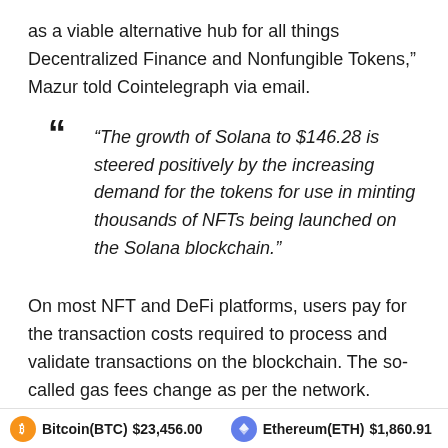as a viable alternative hub for all things Decentralized Finance and Nonfungible Tokens," Mazur told Cointelegraph via email.
“The growth of Solana to $146.28 is steered positively by the increasing demand for the tokens for use in minting thousands of NFTs being launched on the Solana blockchain.”
On most NFT and DeFi platforms, users pay for the transaction costs required to process and validate transactions on the blockchain. The so-called gas fees change as per the network. Ethereum hosts most NFT and DeFi projects via smart contracts supporting its native token Ether (ETH), though this is also why the network
Bitcoin(BTC) $23,456.00   Ethereum(ETH) $1,860.91   XRP